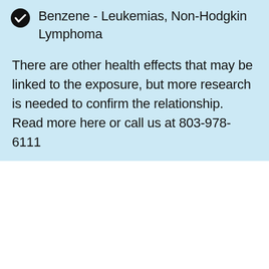Benzene - Leukemias, Non-Hodgkin Lymphoma
There are other health effects that may be linked to the exposure, but more research is needed to confirm the relationship. Read more here or call us at 803-978-6111